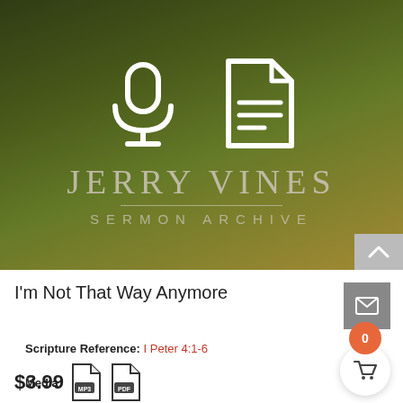[Figure (illustration): Jerry Vines Sermon Archive hero image: green field/lawn background with warm golden overlay. Two white icons centered: a microphone icon and a document/file icon. Below, text reads JERRY VINES in large serif letters with an underline, then SERMON ARCHIVE in smaller spaced sans-serif letters.]
I'm Not That Way Anymore
Scripture Reference: I Peter 4:1-6
Media: MP3 PDF
$3.99